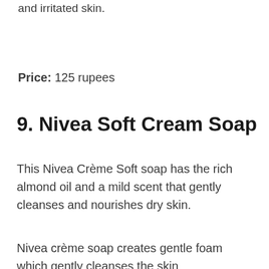This is gentle on the sensitive skin and irritated skin.
Price: 125 rupees
9. Nivea Soft Cream Soap
This Nivea Crème Soft soap has the rich almond oil and a mild scent that gently cleanses and nourishes dry skin.
Nivea crème soap creates gentle foam which gently cleanses the skin